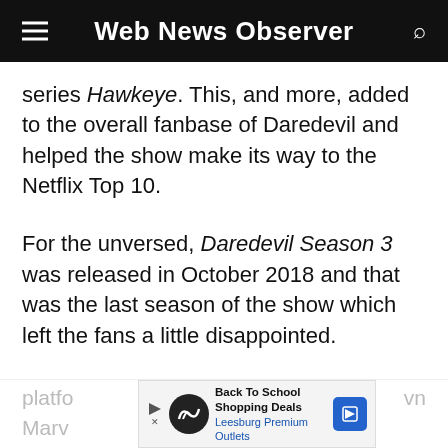Web News Observer
series Hawkeye. This, and more, added to the overall fanbase of Daredevil and helped the show make its way to the Netflix Top 10.
For the unversed, Daredevil Season 3 was released in October 2018 and that was the last season of the show which left the fans a little disappointed.
A plethora of Marvel shows is now leaving Netflix only to be added to the watchlist of Disney+. And rightly so, since the streaming platfo... Marv...
[Figure (other): Advertisement banner: Back To School Shopping Deals - Leesburg Premium Outlets]